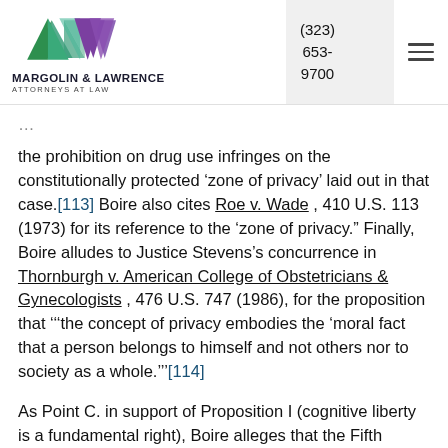Margolin & Lawrence Attorneys at Law | (323) 653-9700
the prohibition on drug use infringes on the constitutionally protected ‘zone of privacy’ laid out in that case.[113] Boire also cites Roe v. Wade , 410 U.S. 113 (1973) for its reference to the ‘zone of privacy.” Finally, Boire alludes to Justice Stevens’s concurrence in Thornburgh v. American College of Obstetricians & Gynecologists , 476 U.S. 747 (1986), for the proposition that ‘‘‘the concept of privacy embodies the ‘moral fact that a person belongs to himself and not others nor to society as a whole.’’’[114]
As Point C. in support of Proposition I (cognitive liberty is a fundamental right), Boire alleges that the Fifth Amendment’s protection of the right not to testify against oneself has been interpreted to...